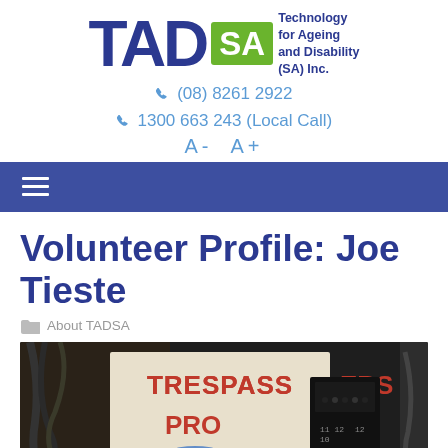[Figure (logo): TADSA logo: large blue TAD letters, green SA box, text 'Technology for Ageing and Disability (SA) Inc.']
(08) 8261 2922
1300 663 243 (Local Call)
A-  A+
Navigation menu bar with hamburger icon
Volunteer Profile: Joe Tieste
About TADSA
[Figure (photo): Photo showing a workshop scene with a 'TRESPASSERS PROSECUTED' sign and electronic equipment being handled with blue gloved hands.]